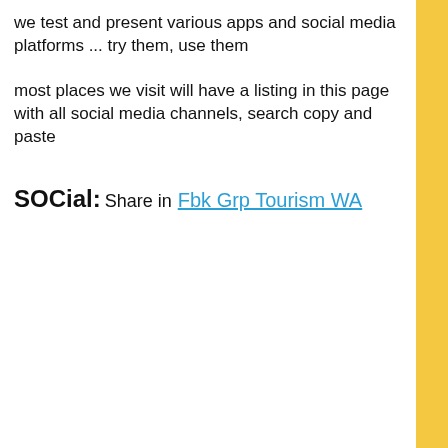we test and present various apps and social media platforms ... try them, use them
most places we visit will have a listing in this page with all social media channels, search copy and paste
SOCial: Share in Fbk Grp Tourism WA